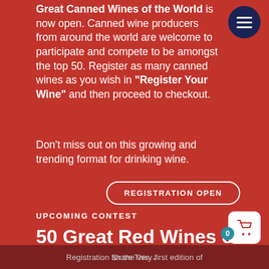Great Canned Wines of the World is now open. Canned wine producers from around the world are welcome to participate and compete to be amongst the top 50. Register as many canned wines as you wish in "Register Your Wine" and then proceed to checkout.
Don't miss out on this growing and trending format for drinking wine.
REGISTRATION OPEN
UPCOMING CONTEST
50 Great Red Wines of the World Competition
Registration for the very first edition of